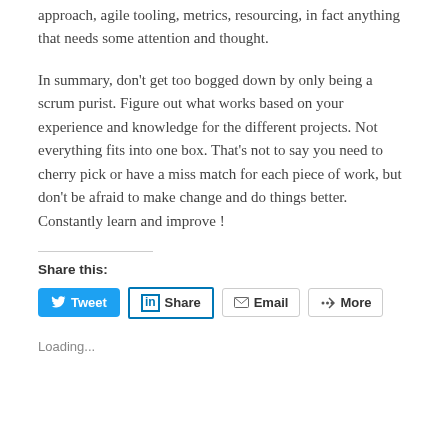approach, agile tooling, metrics, resourcing, in fact anything that needs some attention and thought.
In summary, don't get too bogged down by only being a scrum purist. Figure out what works based on your experience and knowledge for the different projects. Not everything fits into one box. That's not to say you need to cherry pick or have a miss match for each piece of work, but don't be afraid to make change and do things better. Constantly learn and improve !
Share this:
[Figure (other): Social share buttons: Tweet (Twitter), Share (LinkedIn), Email, More]
Loading...